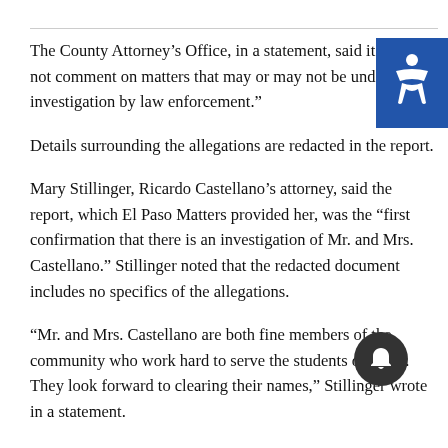The County Attorney’s Office, in a statement, said it “does not comment on matters that may or may not be under investigation by law enforcement.”
Details surrounding the allegations are redacted in the report.
Mary Stillinger, Ricardo Castellano’s attorney, said the report, which El Paso Matters provided her, was the “first confirmation that there is an investigation of Mr. and Mrs. Castellano.” Stillinger noted that the redacted document includes no specifics of the allegations.
“Mr. and Mrs. Castellano are both fine members of the community who work hard to serve the students of SISD. They look forward to clearing their names,” Stillinger wrote in a statement.
A public servant, such as a school board trustee, could face charges of official oppression if he or she “intentionally